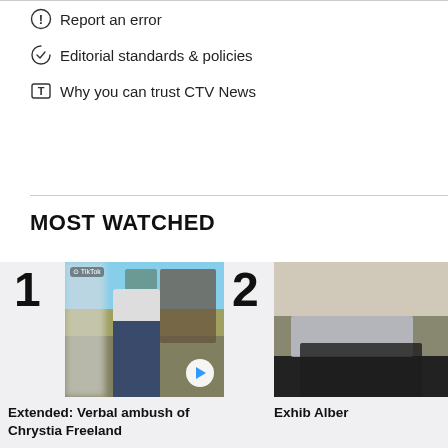Report an error
Editorial standards & policies
Why you can trust CTV News
MOST WATCHED
[Figure (photo): Video thumbnail 1: man in white tank top in parking lot, TikTok sourced, with play button overlay. Number 1 rank.]
Extended: Verbal ambush of Chrystia Freeland
[Figure (photo): Video thumbnail 2: partially cropped image, number 2 rank.]
Exhib Alber